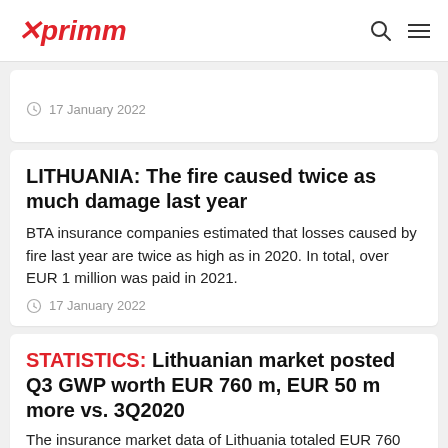xprimm
17 January 2022
LITHUANIA: The fire caused twice as much damage last year
BTA insurance companies estimated that losses caused by fire last year are twice as high as in 2020. In total, over EUR 1 million was paid in 2021.
17 January 2022
STATISTICS: Lithuanian market posted Q3 GWP worth EUR 760 m, EUR 50 m more vs. 3Q2020
The insurance market data of Lithuania totaled EUR 760...